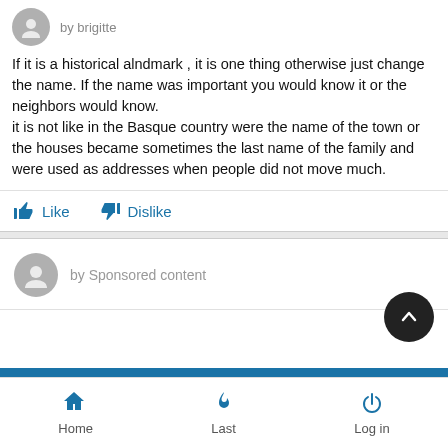by brigitte
If it is a historical alndmark , it is one thing otherwise just change the name. If the name was important you would know it or the neighbors would know.
it is not like in the Basque country were the name of the town or the houses became sometimes the last name of the family and were used as addresses when people did not move much.
Like   Dislike
by Sponsored content
Home   Last   Log in